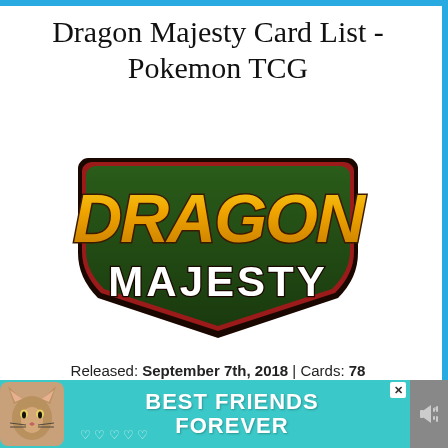Dragon Majesty Card List - Pokemon TCG
[Figure (logo): Dragon Majesty logo — stylized gold letters spelling DRAGON on top and MAJESTY in white/silver below, on a dark green background with red/dark border, in a badge/emblem shape.]
Released: September 7th, 2018 | Cards: 78
Dragon Majesty is a special set released in the Sun & Moon Pokemon TCG series.
[Figure (photo): Advertisement banner with a tabby cat photo on the left and bold white text reading BEST FRIENDS FOREVER on a teal background.]